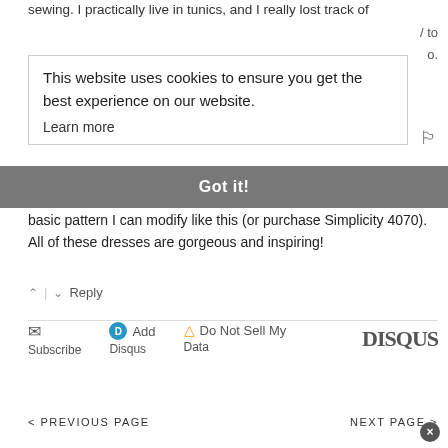sewing. I practically live in tunics, and I really lost track of
/ to o.
This website uses cookies to ensure you get the best experience on our website.
Learn more
Got it!
attern. nd a basic pattern I can modify like this (or purchase Simplicity 4070). All of these dresses are gorgeous and inspiring!
Reply
Subscribe
Add Disqus
Do Not Sell My Data
DISQUS
< PREVIOUS PAGE
NEXT PAGE >